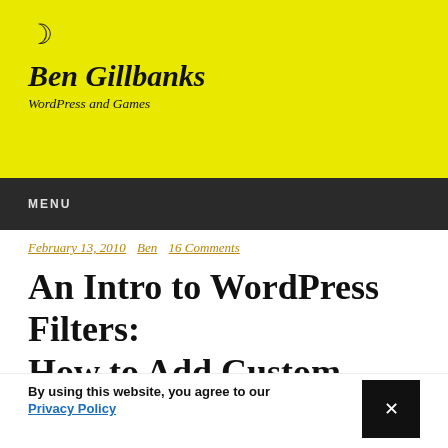Ben Gillbanks
WordPress and Games
MENU
February 13, 2010  Ben  16 Comments
An Intro to WordPress Filters: How to Add Custom Stuff to
By using this website, you agree to our Privacy Policy